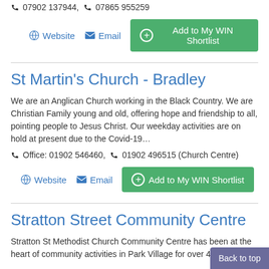07902 137944, 07865 955259
Website   Email   Add to My WIN Shortlist
St Martin's Church - Bradley
We are an Anglican Church working in the Black Country. We are Christian Family young and old, offering hope and friendship to all, pointing people to Jesus Christ. Our weekday activities are on hold at present due to the Covid-19…
Office: 01902 546460, 01902 496515 (Church Centre)
Website   Email   Add to My WIN Shortlist
Stratton Street Community Centre
Stratton St Methodist Church Community Centre has been at the heart of community activities in Park Village for over 40 years.